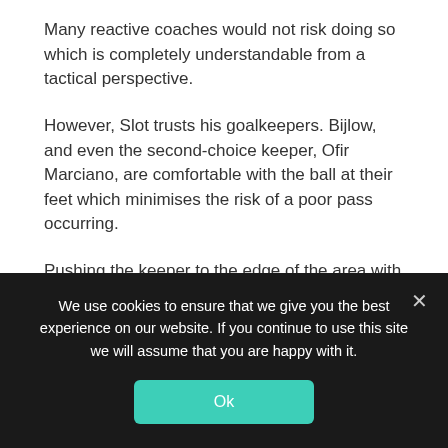Many reactive coaches would not risk doing so which is completely understandable from a tactical perspective.
However, Slot trusts his goalkeepers. Bijlow, and even the second-choice keeper, Ofir Marciano, are comfortable with the ball at their feet which minimises the risk of a poor pass occurring.
Pushing the keeper to the edge of the area with the centre-backs splitting wide can be extremely useful when executed perfectly. As can be seen from the previous image, it allows
We use cookies to ensure that we give you the best experience on our website. If you continue to use this site we will assume that you are happy with it.